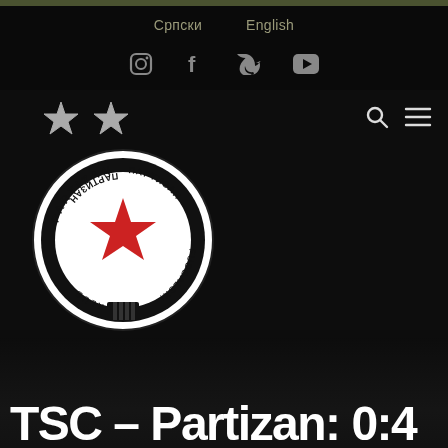Српски   English
[Figure (logo): Social media icons: Instagram, Facebook, Twitter, YouTube]
[Figure (logo): FK Partizan football club logo with two stars above it — circular crest with red star in center, text PARTIZAN FUDBALSKI KLUB]
TSC – Partizan: 0:4